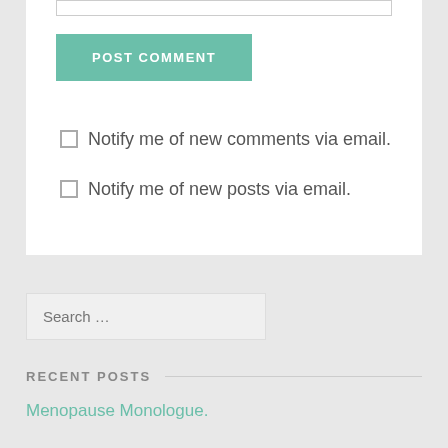[input box / text area top edge]
POST COMMENT
Notify me of new comments via email.
Notify me of new posts via email.
Search …
RECENT POSTS
Menopause Monologue.